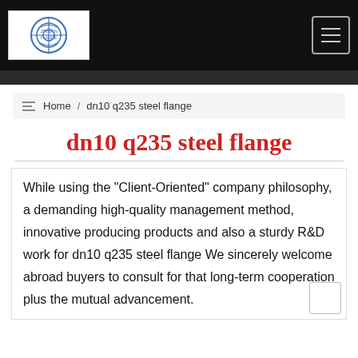[Figure (logo): Company logo with circular emblem on white background in top-left of black navigation bar]
Navigation bar with company logo and hamburger menu button
Home / dn10 q235 steel flange
dn10 q235 steel flange
While using the "Client-Oriented" company philosophy, a demanding high-quality management method, innovative producing products and also a sturdy R&D work for dn10 q235 steel flange We sincerely welcome abroad buyers to consult for that long-term cooperation plus the mutual advancement.